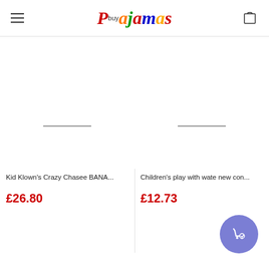BuyPajamas store header with logo and cart icon
[Figure (screenshot): Product image placeholder for Kid Klown's Crazy Chasee BANA...]
Kid Klown's Crazy Chasee BANA...
£26.80
[Figure (screenshot): Product image placeholder for Children's play with wate new con...]
Children's play with wate new con...
£12.73